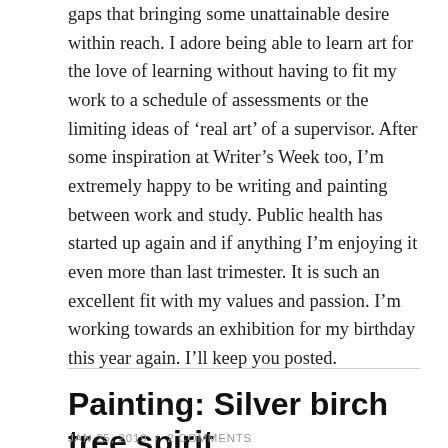gaps that bringing some unattainable desire within reach. I adore being able to learn art for the love of learning without having to fit my work to a schedule of assessments or the limiting ideas of ‘real art’ of a supervisor. After some inspiration at Writer’s Week too, I’m extremely happy to be writing and painting between work and study. Public health has started up again and if anything I’m enjoying it even more than last trimester. It is such an excellent fit with my values and passion. I’m working towards an exhibition for my birthday this year again. I’ll keep you posted.
Painting: Silver birch tree spirit
JAN 25, 2019 / 2 COMMENTS